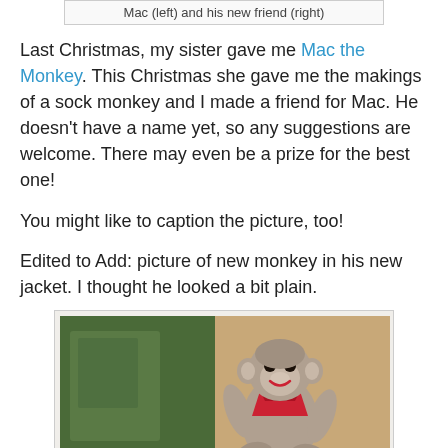Mac (left) and his new friend (right)
Last Christmas, my sister gave me Mac the Monkey. This Christmas she gave me the makings of a sock monkey and I made a friend for Mac. He doesn't have a name yet, so any suggestions are welcome. There may even be a prize for the best one!
You might like to caption the picture, too!
Edited to Add: picture of new monkey in his new jacket. I thought he looked a bit plain.
[Figure (photo): A sock monkey wearing a red knitted jacket/bandana, sitting on a green leather couch]